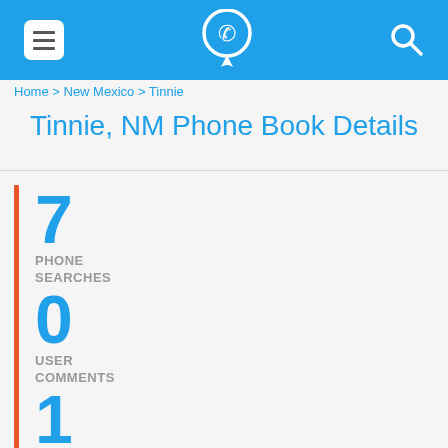Menu | Phone Book Logo | Search
Home > New Mexico > Tinnie
Tinnie, NM Phone Book Details
7 PHONE SEARCHES
0 USER COMMENTS
1 TELEPHONE CARRIERS